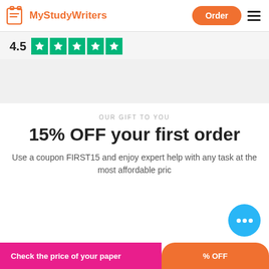MyStudyWriters | Order
[Figure (logo): MyStudyWriters logo with orange icon and orange text, Order button, and hamburger menu]
4.5 ★★★★★ (Trustpilot 5-star green rating)
OUR GIFT TO YOU
15% OFF your first order
Use a coupon FIRST15 and enjoy expert help with any task at the most affordable price
Check the price of your paper
% OFF